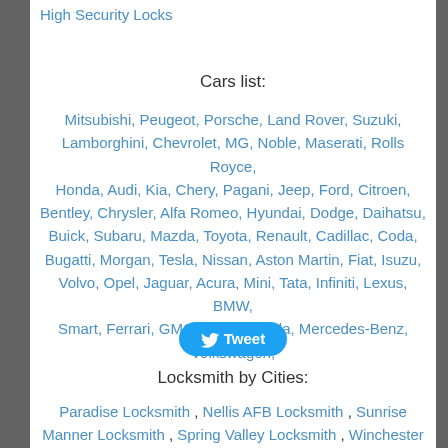High Security Locks
Cars list:
Mitsubishi, Peugeot, Porsche, Land Rover, Suzuki, Lamborghini, Chevrolet, MG, Noble, Maserati, Rolls Royce, Honda, Audi, Kia, Chery, Pagani, Jeep, Ford, Citroen, Bentley, Chrysler, Alfa Romeo, Hyundai, Dodge, Daihatsu, Buick, Subaru, Mazda, Toyota, Renault, Cadillac, Coda, Bugatti, Morgan, Tesla, Nissan, Aston Martin, Fiat, Isuzu, Volvo, Opel, Jaguar, Acura, Mini, Tata, Infiniti, Lexus, BMW, Smart, Ferrari, GMC, Scion, Skoda, Mercedes-Benz, Volkswagen,
[Figure (other): Twitter Tweet button]
Locksmith by Cities:
Paradise Locksmith , Nellis AFB Locksmith , Sunrise Manner Locksmith , Spring Valley Locksmith , Winchester Locksmith ,